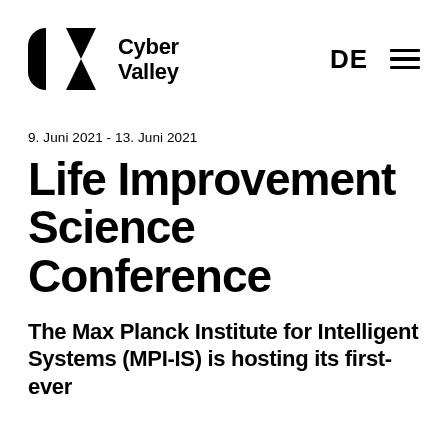[Figure (logo): Cyber Valley logo with geometric black shapes (circle-cut rectangle and triangle) beside bold text 'Cyber Valley']
9. Juni 2021 - 13. Juni 2021
Life Improvement Science Conference
The Max Planck Institute for Intelligent Systems (MPI-IS) is hosting its first-ever